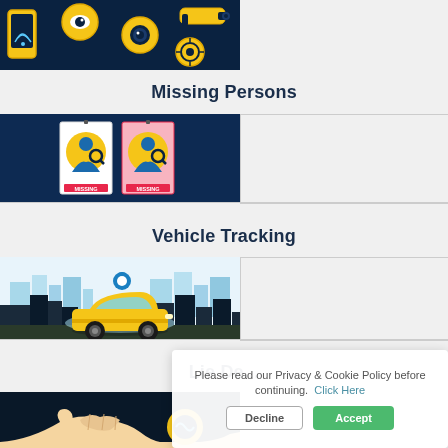[Figure (illustration): Surveillance/security themed illustration with cameras, eye icons, and wifi symbols on dark navy background]
Missing Persons
[Figure (illustration): Two missing persons posters with silhouette figures on yellow circles against dark navy background, labeled MISSING]
Vehicle Tracking
[Figure (illustration): Yellow car with GPS location pin above it, city skyline in background, light blue theme]
Lie De...
[Figure (illustration): Partial view of lie detector themed illustration on dark background]
Please read our Privacy & Cookie Policy before continuing. Click Here
Decline
Accept